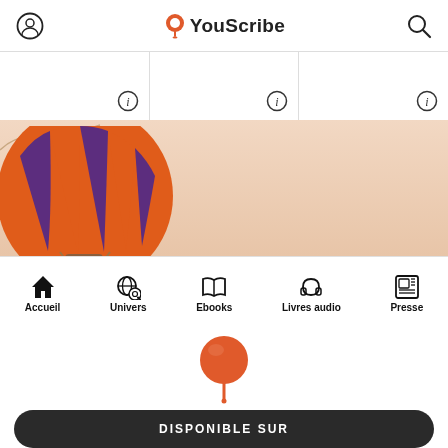YouScribe
[Figure (screenshot): Three card panels each with an info (i) icon in top right]
[Figure (illustration): Hot air balloon banner with orange and purple striped balloon on peach/salmon background]
[Figure (infographic): Bottom navigation bar with icons: Accueil (home), Univers (globe+magnifier), Ebooks (open book), Livres audio (headphones), Presse (newspaper)]
[Figure (logo): YouScribe orange map pin / hot air balloon logo icon centered]
DISPONIBLE SUR